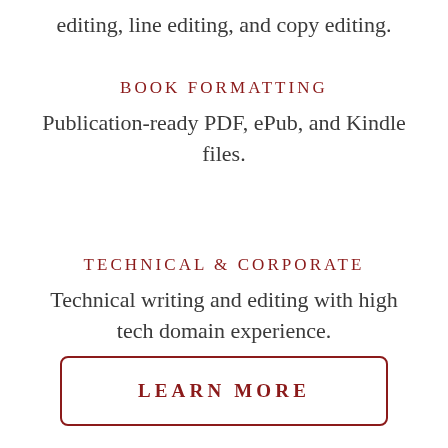editing, line editing, and copy editing.
BOOK FORMATTING
Publication-ready PDF, ePub, and Kindle files.
TECHNICAL & CORPORATE
Technical writing and editing with high tech domain experience.
LEARN MORE